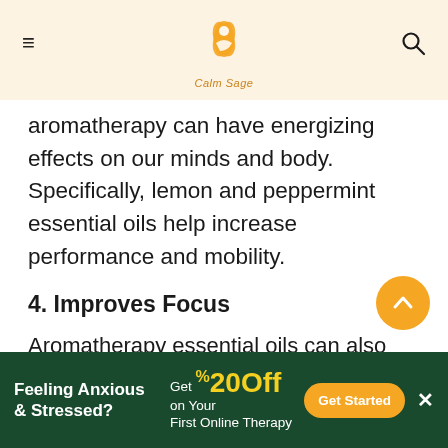Calm Sage — navigation header with menu and search icons and logo
aromatherapy can have energizing effects on our minds and body. Specifically, lemon and peppermint essential oils help increase performance and mobility.
4. Improves Focus
Aromatherapy essential oils can also help improve cognitive functions, focus, and concentration. Essential oils have anti-oxidants that can help with cognitive impairments. It is also said that aromatherapy can help people with Alzheimer and Dementia, however, there is much research
[Figure (other): Orange circular scroll-to-top button with upward chevron arrow]
Feeling Anxious & Stressed? Get 20% Off on Your First Online Therapy — Get Started